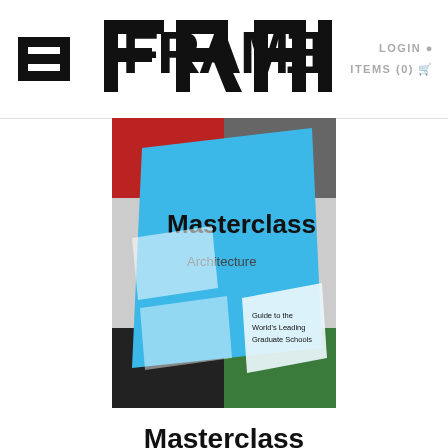FRAME  LOGIN  ITEMS (0)
[Figure (photo): Book cover of Masterclass Architecture - Guide to the World's Leading Graduate Schools, with blue cover design and architectural images]
Masterclass Architecture
€29,00